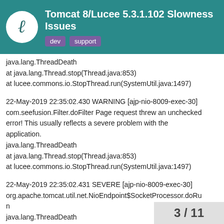Tomcat 8/Lucee 5.3.1.102 Slowness Issues dev support
java.lang.ThreadDeath
at java.lang.Thread.stop(Thread.java:853)
at lucee.commons.io.StopThread.run(SystemUtil.java:1497)
22-May-2019 22:35:02.430 WARNING [ajp-nio-8009-exec-30] com.seefusion.Filter.doFilter Page request threw an unchecked error! This usually reflects a severe problem with the application.
java.lang.ThreadDeath
at java.lang.Thread.stop(Thread.java:853)
at lucee.commons.io.StopThread.run(SystemUtil.java:1497)
22-May-2019 22:35:02.431 SEVERE [ajp-nio-8009-exec-30] org.apache.tomcat.util.net.NioEndpoint$SocketProcessor.doRun
java.lang.ThreadDeath
at java.lang.Thread.stop(Thread.java:853)
at lucee.commons.io.StopThread.run(SystemUtil.java:1497)
22-May-2019 22:35:07.429 WARNING [ajp
3 / 11